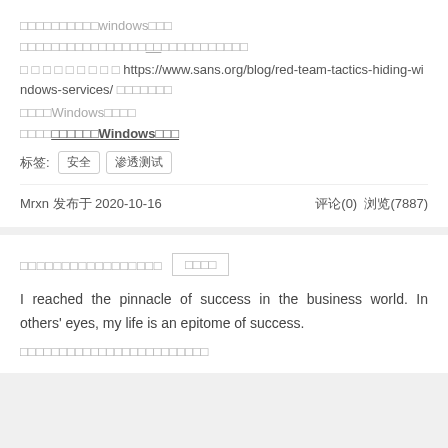□□□□□□□□□□windows□□□
□□□□□□□□□□□□□□□□□□□□□□□□□□□□□□□□□
□ □ □ □ □ □ □ □ □ https://www.sans.org/blog/red-team-tactics-hiding-windows-services/ □□□□□□□
□□□□Windows□□□□
□□□□□□□□□□Windows□□□
标签: 安全  渗透测试
Mrxn 发布于 2020-10-16   评论(0)  浏览(7887)
□□□□□□□□□□□□□□□□□ □□□□
I reached the pinnacle of success in the business world. In others' eyes, my life is an epitome of success.
□□□□□□□□□□□□□□□□□□□□□□□□